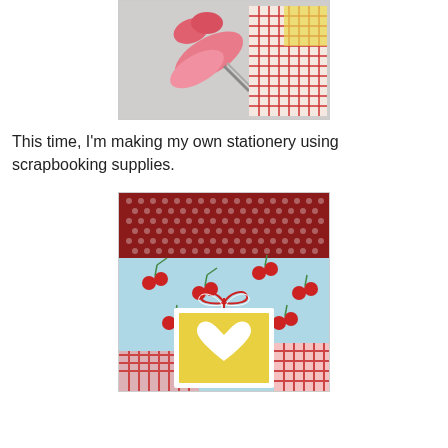[Figure (photo): Photo of pink scissors and plaid scrapbooking paper on a light surface]
This time, I'm making my own stationery using scrapbooking supplies.
[Figure (photo): Close-up photo of scrapbooking stationery featuring cherry-print paper, polka dot paper, a yellow card with a white heart, tied with red and white twine, on a pink plaid background]